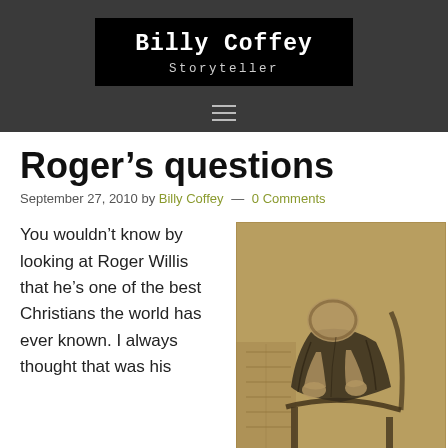Billy Coffey Storyteller
Roger’s questions
September 27, 2010 by Billy Coffey — 0 Comments
You wouldn’t know by looking at Roger Willis that he’s one of the best Christians the world has ever known. I always thought that was his
[Figure (illustration): Vintage sketch/drawing of a hunched elderly man sitting in a chair with his head bowed down into his hands, in a dark sepia/charcoal style reminiscent of Van Gogh.]